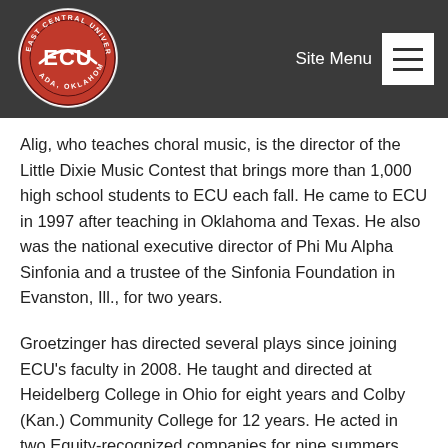[Figure (logo): East Central University (ECU) circular logo with red/white colors and text 'EAST CENTRAL UNIVERSITY, ADA, OKLAHOMA']
Site Menu
Alig, who teaches choral music, is the director of the Little Dixie Music Contest that brings more than 1,000 high school students to ECU each fall. He came to ECU in 1997 after teaching in Oklahoma and Texas. He also was the national executive director of Phi Mu Alpha Sinfonia and a trustee of the Sinfonia Foundation in Evanston, Ill., for two years.
Groetzinger has directed several plays since joining ECU's faculty in 2008. He taught and directed at Heidelberg College in Ohio for eight years and Colby (Kan.) Community College for 12 years. He acted in two Equity-recognized companies for nine summers, the Nebraska Shakespeare Festival and the Music Theatre of Wichita.
Mitchell also came to ECU in 2008. She previously was